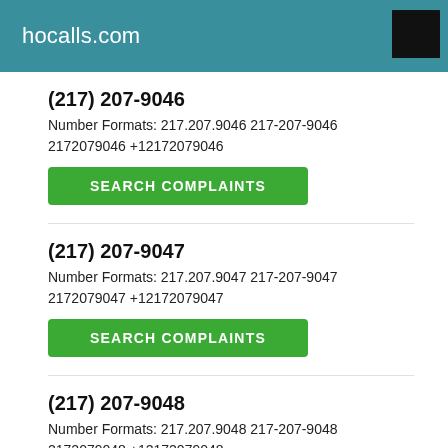hocalls.com
(217) 207-9046
Number Formats: 217.207.9046 217-207-9046 2172079046 +12172079046
(217) 207-9047
Number Formats: 217.207.9047 217-207-9047 2172079047 +12172079047
(217) 207-9048
Number Formats: 217.207.9048 217-207-9048 2172079048 +12172079048